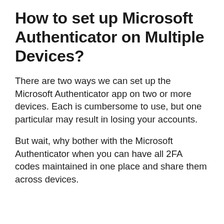How to set up Microsoft Authenticator on Multiple Devices?
There are two ways we can set up the Microsoft Authenticator app on two or more devices. Each is cumbersome to use, but one particular may result in losing your accounts.
But wait, why bother with the Microsoft Authenticator when you can have all 2FA codes maintained in one place and share them across devices.